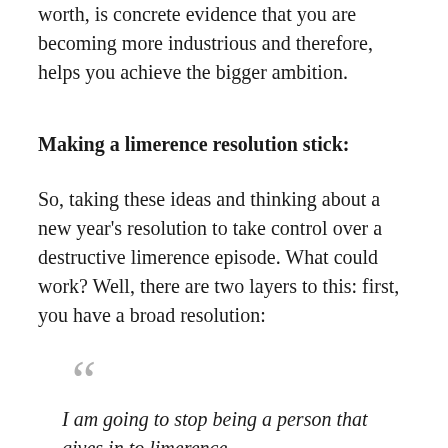worth, is concrete evidence that you are becoming more industrious and therefore, helps you achieve the bigger ambition.
Making a limerence resolution stick:
So, taking these ideas and thinking about a new year's resolution to take control over a destructive limerence episode. What could work? Well, there are two layers to this: first, you have a broad resolution:
“I am going to stop being a person that gives in to limerence